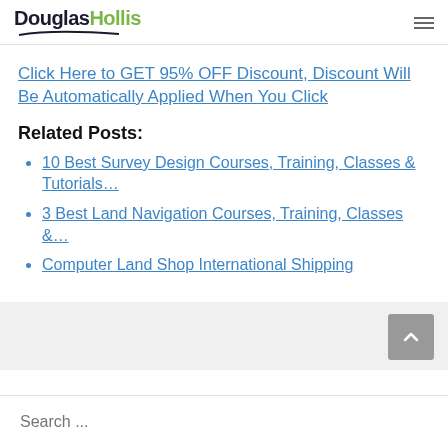DouglasHollis
Click Here to GET 95% OFF Discount, Discount Will Be Automatically Applied When You Click
Related Posts:
10 Best Survey Design Courses, Training, Classes & Tutorials…
3 Best Land Navigation Courses, Training, Classes &…
Computer Land Shop International Shipping
Search ...